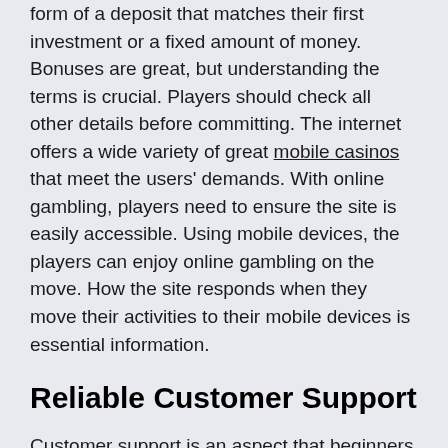form of a deposit that matches their first investment or a fixed amount of money. Bonuses are great, but understanding the terms is crucial. Players should check all other details before committing. The internet offers a wide variety of great mobile casinos that meet the users' demands. With online gambling, players need to ensure the site is easily accessible. Using mobile devices, the players can enjoy online gambling on the move. How the site responds when they move their activities to their mobile devices is essential information.
Reliable Customer Support
Customer support is an aspect that beginners ignore until they encounter an issue. Even the best online mobile gambling sites will occasionally experience technical hitches. However, what undoubtedly makes all the difference is the